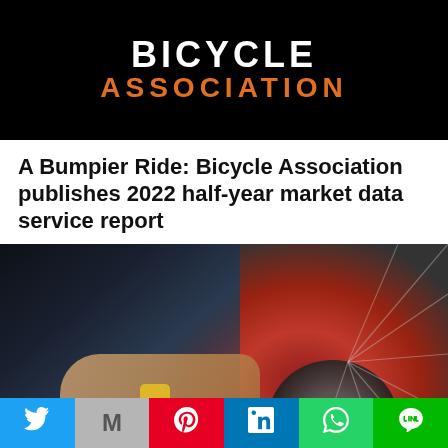[Figure (logo): Bicycle Association logo — white text 'BICYCLE' and orange text 'ASSOCIATION' on black background]
A Bumpier Ride: Bicycle Association publishes 2022 half-year market data service report
[Figure (photo): Close-up photo of person's hands using a wrench/tool on a red bicycle's rear wheel, chain, and gear assembly. A play button (white triangle) is overlaid on the bottom right.]
Social sharing bar with Twitter, Gmail, Pinterest, LinkedIn, WhatsApp, Line buttons